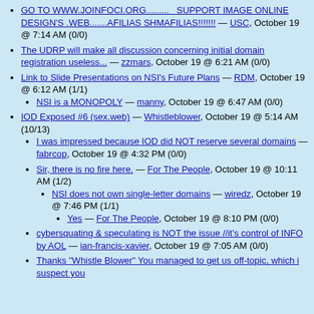GO TO WWW.JOINFOCI.ORG......... SUPPORT IMAGE ONLINE DESIGN'S .WEB.......AFILIAS SHMAFILIAS!!!!!!! — USC, October 19 @ 7:14 AM (0/0)
The UDRP will make all discussion concerning initial domain registration useless... — zzmars, October 19 @ 6:21 AM (0/0)
Link to Slide Presentations on NSI's Future Plans — RDM, October 19 @ 6:12 AM (1/1)
NSI is a MONOPOLY — manny, October 19 @ 6:47 AM (0/0)
IOD Exposed #6 (sex.web) — Whistleblower, October 19 @ 5:14 AM (10/13)
I was impressed because IOD did NOT reserve several domains — fabrcop, October 19 @ 4:32 PM (0/0)
Sir, there is no fire here. — For The People, October 19 @ 10:11 AM (1/2)
NSI does not own single-letter domains — wiredz, October 19 @ 7:46 PM (1/1)
Yes — For The People, October 19 @ 8:10 PM (0/0)
cybersquating & speculating is NOT the issue //it's control of INFO by AOL — ian-francis-xavier, October 19 @ 7:05 AM (0/0)
Thanks "Whistle Blower" You managed to get us off-topic, which i suspect you...